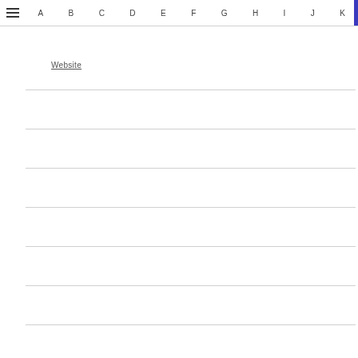≡  A  B  C  D  E  F  G  H  I  J  K
Website